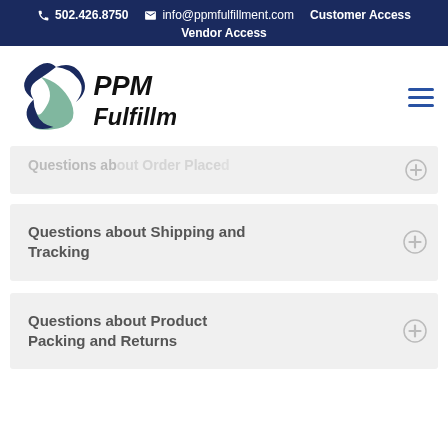502.426.8750  info@ppmfulfillment.com  Customer Access  Vendor Access
[Figure (logo): PPM Fulfillment logo with stylized blue and green swoosh icon and bold black text reading PPM Fulfillment]
Questions about Order Placed (partially visible)
Questions about Shipping and Tracking
Questions about Product Packing and Returns